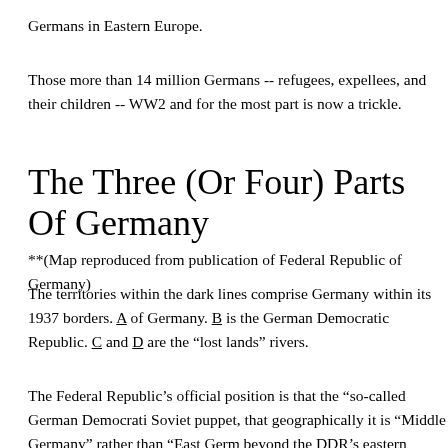Germans in Eastern Europe.
Those more than 14 million Germans -- refugees, expellees, and their children -- WW2 and for the most part is now a trickle.
The Three (Or Four) Parts Of Germany
**(Map reproduced from publication of Federal Republic of Germany)
The territories within the dark lines comprise Germany within its 1937 borders. A of Germany. B is the German Democratic Republic. C and D are the “lost lands” rivers.
The Federal Republic’s official position is that the “so-called German Democratic Soviet puppet, that geographically it is “Middle Germany” rather than “East Germ beyond the DDR’s eastern border (roughly the Oder and Neisse rivers) that were Soviet Union under the Potsdam Agreement are merely under temporary foreign a adjustment of the border and conclusion of the long-awaited peace treaty between
Almost every week in 1967 some aspect of the “German problem” has made legit diplomatic relations with Romania and trade agreements with Czechoslovakia.